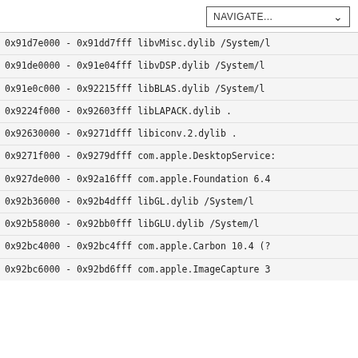NAVIGATE...
| address range | library | path |
| --- | --- | --- |
| 0x91d7e000 - 0x91dd7fff | libvMisc.dylib | /System/l |
| 0x91de0000 - 0x91e04fff | libvDSP.dylib | /System/l |
| 0x91e0c000 - 0x92215fff | libBLAS.dylib | /System/l |
| 0x9224f000 - 0x92603fff | libLAPACK.dylib | . |
| 0x92630000 - 0x9271dfff | libiconv.2.dylib | . |
| 0x9271f000 - 0x9279dfff | com.apple.DesktopServices |  |
| 0x927de000 - 0x92a16fff | com.apple.Foundation | 6.4 |
| 0x92b36000 - 0x92b4dfff | libGL.dylib | /System/l |
| 0x92b58000 - 0x92bb0fff | libGLU.dylib | /System/l |
| 0x92bc4000 - 0x92bc4fff | com.apple.Carbon | 10.4 (? |
| 0x92bc6000 - 0x92bd6fff | com.apple.ImageCapture | 3 |